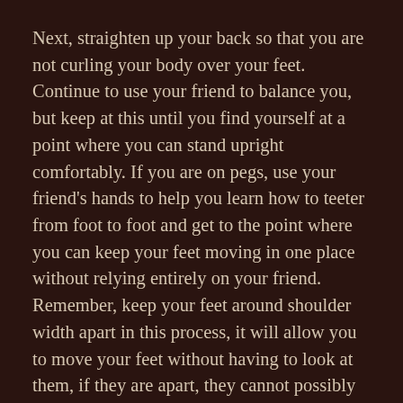Next, straighten up your back so that you are not curling your body over your feet. Continue to use your friend to balance you, but keep at this until you find yourself at a point where you can stand upright comfortably. If you are on pegs, use your friend's hands to help you learn how to teeter from foot to foot and get to the point where you can keep your feet moving in one place without relying entirely on your friend. Remember, keep your feet around shoulder width apart in this process, it will allow you to move your feet without having to look at them, if they are apart, they cannot possibly hit each other.
Grab hold of your friend again. Keep them in front of you with their two hands high. Grasp them. Begin taking your first steps. Relax; it is exactly the same stride that you would usually take. Make sure each step is controlled. If you feel the urge to quickly step